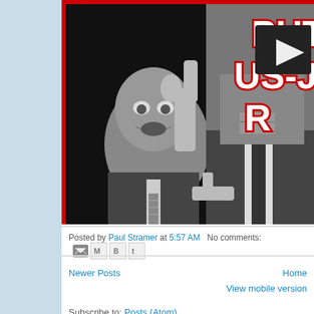[Figure (photo): Black and white photo of two politicians, one making a thumbs-up and gun-finger gesture, the other in a suit with a tie. Red border frame around the image with partial red text overlay reading 'PUT US-J' and a dark play button icon visible in upper right corner.]
Posted by Paul Stramer at 5:57 AM   No comments:
Newer Posts
Home
View mobile version
Subscribe to: Posts (Atom)